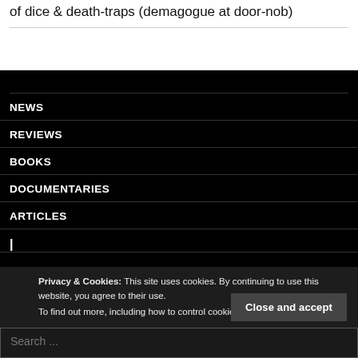of dice & death-traps (demagogue at door-nob)
NEWS
REVIEWS
BOOKS
DOCUMENTARIES
ARTICLES
Privacy & Cookies: This site uses cookies. By continuing to use this website, you agree to their use. To find out more, including how to control cookies, see here: Cookie Policy
Close and accept
Search ...